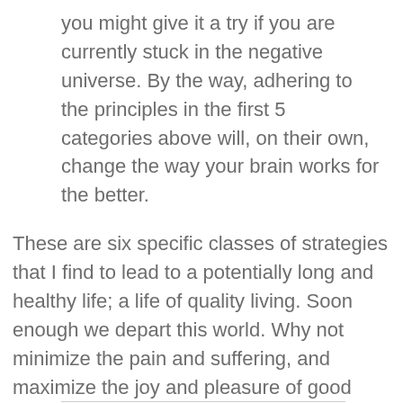you might give it a try if you are currently stuck in the negative universe. By the way, adhering to the principles in the first 5 categories above will, on their own, change the way your brain works for the better.
These are six specific classes of strategies that I find to lead to a potentially long and healthy life; a life of quality living. Soon enough we depart this world. Why not minimize the pain and suffering, and maximize the joy and pleasure of good health and functional fitness while we are here – life is a gift to be relished, is it not?
Good Living – Frank